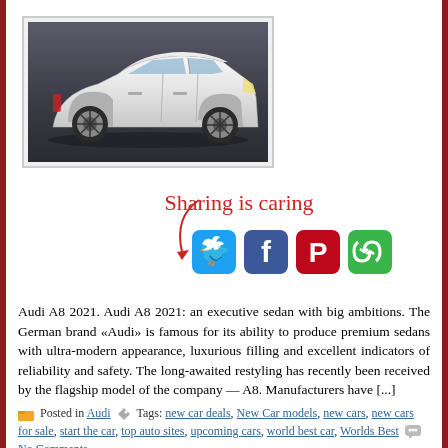[Figure (photo): White Audi A8 sedan side profile on dark background, shown inside a bordered image frame]
[Figure (infographic): Sharing is caring section with cursive red text and red arrow pointing to four social media buttons: Twitter (blue), Facebook (dark blue), Pinterest (red), and a share button (green)]
Audi A8 2021. Audi A8 2021: an executive sedan with big ambitions. The German brand «Audi» is famous for its ability to produce premium sedans with ultra-modern appearance, luxurious filling and excellent indicators of reliability and safety. The long-awaited restyling has recently been received by the flagship model of the company — A8. Manufacturers have [...]
Posted in Audi  Tags: new car deals, New Car models, new cars, new cars for sale, start the car, top auto sites, upcoming cars, world best car, Worlds Best  No Comments »
Audi RS 7 Sportback 2021.